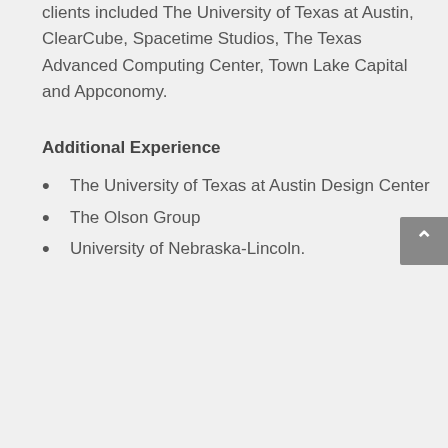clients included The University of Texas at Austin, ClearCube, Spacetime Studios, The Texas Advanced Computing Center, Town Lake Capital and Appconomy.
Additional Experience
The University of Texas at Austin Design Center
The Olson Group
University of Nebraska-Lincoln.